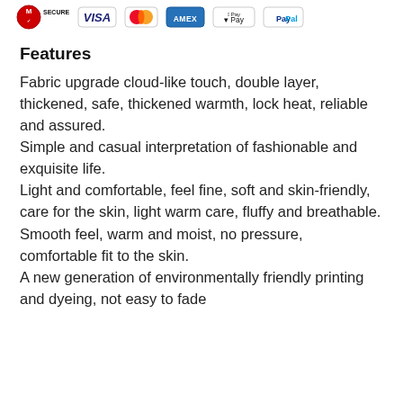[Figure (logo): Payment security badges: McAfee Secure, Visa, Mastercard, Amex, Apple Pay, PayPal]
Features
Fabric upgrade cloud-like touch, double layer, thickened, safe, thickened warmth, lock heat, reliable and assured.
Simple and casual interpretation of fashionable and exquisite life.
Light and comfortable, feel fine, soft and skin-friendly, care for the skin, light warm care, fluffy and breathable.
Smooth feel, warm and moist, no pressure, comfortable fit to the skin.
A new generation of environmentally friendly printing and dyeing, not easy to fade